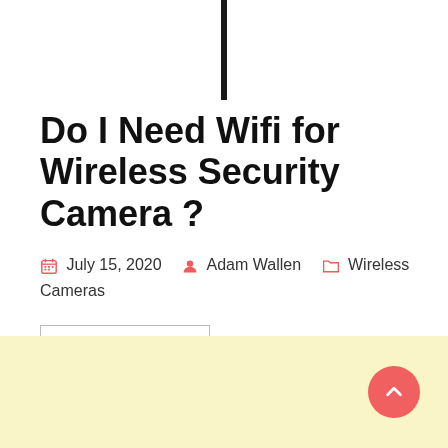[Figure (other): Vertical black bar/divider at top center of page]
Do I Need Wifi for Wireless Security Camera ?
July 15, 2020  Adam Wallen  Wireless Cameras
Contents [show]
Do I need wifi for wireless security camera? Can a CCTV camera work without the internet?